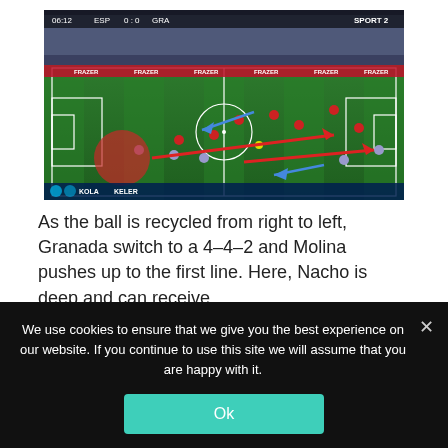[Figure (screenshot): Football match screenshot from a broadcast showing a soccer pitch from an elevated angle. Timestamp 06:12 visible top left, score 0:0, teams ESP vs GRA. Tactical annotations overlaid: a red filled circle on the left, red arrows pointing right across the pitch, and two blue arrows indicating player movements.]
As the ball is recycled from right to left, Granada switch to a 4–4–2 and Molina pushes up to the first line. Here, Nacho is deep and can receive
We use cookies to ensure that we give you the best experience on our website. If you continue to use this site we will assume that you are happy with it.